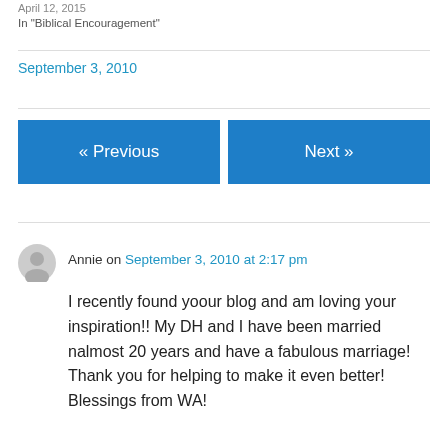April 12, 2015
In "Biblical Encouragement"
September 3, 2010
« Previous
Next »
Annie on September 3, 2010 at 2:17 pm
I recently found yoour blog and am loving your inspiration!! My DH and I have been married nalmost 20 years and have a fabulous marriage! Thank you for helping to make it even better! Blessings from WA!